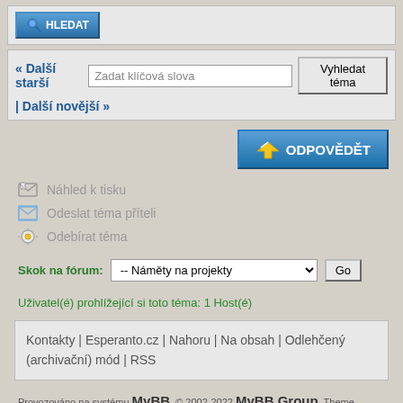[Figure (screenshot): HLEDAT (search) button with magnifying glass icon]
« Další starší | Další novější »  with search input 'Zadat klíčová slova' and button 'Vyhledat téma'
[Figure (screenshot): ODPOVĚDĚT (reply) button with pen/arrow icon]
Náhled k tisku
Odeslat téma příteli
Odebírat téma
Skok na fórum: -- Náměty na projekty  Go
Uživatel(é) prohlížející si toto téma: 1 Host(é)
Kontakty | Esperanto.cz | Nahoru | Na obsah | Odlehčený (archivační) mód | RSS
Provozováno na systému MyBB, © 2002-2022 MyBB Group. Theme Created By DSlakaitis.